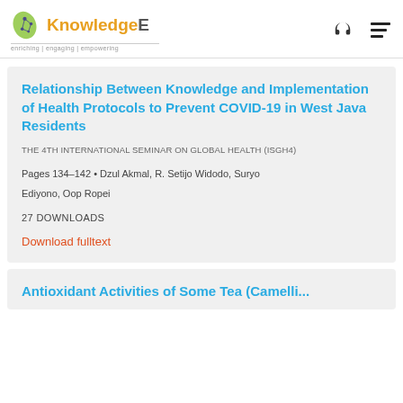KnowledgeE — enriching | engaging | empowering
Relationship Between Knowledge and Implementation of Health Protocols to Prevent COVID-19 in West Java Residents
THE 4TH INTERNATIONAL SEMINAR ON GLOBAL HEALTH (ISGH4)
Pages 134–142 • Dzul Akmal, R. Setijo Widodo, Suryo Ediyono, Oop Ropei
27 DOWNLOADS
Download fulltext
Antioxidant Activities of Some Tea (Camelli...